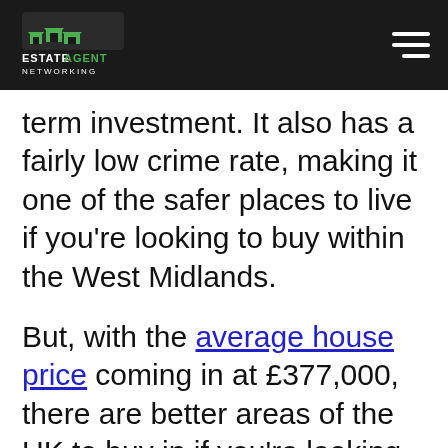Estate Agent Networking
term investment. It also has a fairly low crime rate, making it one of the safer places to live if you're looking to buy within the West Midlands.
But, with the average house price coming in at £377,000, there are better areas of the UK to buy in if you're looking to